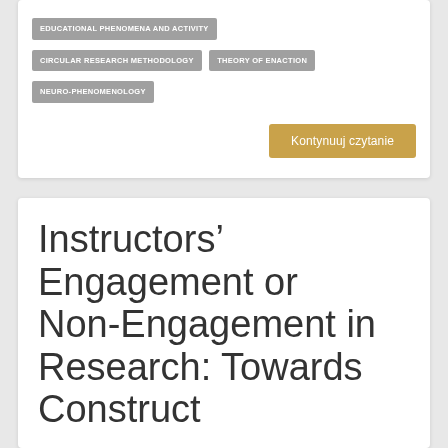EDUCATIONAL PHENOMENA AND ACTIVITY
CIRCULAR RESEARCH METHODOLOGY
THEORY OF ENACTION
NEURO-PHENOMENOLOGY
Kontynuuj czytanie
Instructors' Engagement or Non-Engagement in Research: Towards Construct